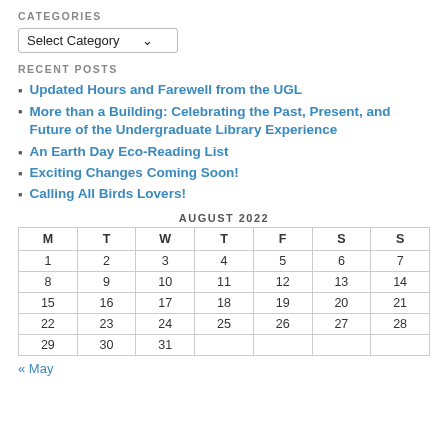CATEGORIES
Select Category
RECENT POSTS
Updated Hours and Farewell from the UGL
More than a Building: Celebrating the Past, Present, and Future of the Undergraduate Library Experience
An Earth Day Eco-Reading List
Exciting Changes Coming Soon!
Calling All Birds Lovers!
| M | T | W | T | F | S | S |
| --- | --- | --- | --- | --- | --- | --- |
| 1 | 2 | 3 | 4 | 5 | 6 | 7 |
| 8 | 9 | 10 | 11 | 12 | 13 | 14 |
| 15 | 16 | 17 | 18 | 19 | 20 | 21 |
| 22 | 23 | 24 | 25 | 26 | 27 | 28 |
| 29 | 30 | 31 |  |  |  |  |
« May